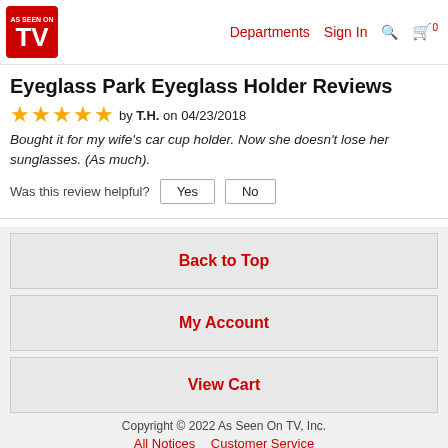Departments  Sign In  🔍  🛒 0
Eyeglass Park Eyeglass Holder Reviews
★★★★★ by T.H. on 04/23/2018
Bought it for my wife's car cup holder. Now she doesn't lose her sunglasses. (As much).
Was this review helpful? Yes  No
Back to Top
My Account
View Cart
Copyright © 2022 As Seen On TV, Inc.  All Notices  Customer Service